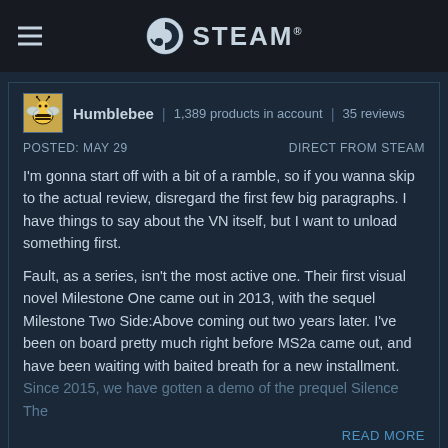STEAM®
Humblebee | 1,389 products in account | 35 reviews
POSTED: MAY 29	DIRECT FROM STEAM
I'm gonna start off with a bit of a ramble, so if you wanna skip to the actual review, disregard the first few big paragraphs. I have things to say about the VN itself, but I want to unload something first.
Fault, as a series, isn't the most active one. Their first visual novel Milestone One came out in 2013, with the sequel Milestone Two Side:Above coming out two years later. I've been on board pretty much right before MS2a came out, and have been waiting with baited breath for a new installment. Since 2015, we have gotten a demo of the prequel Silence The
READ MORE
Was this review helpful?